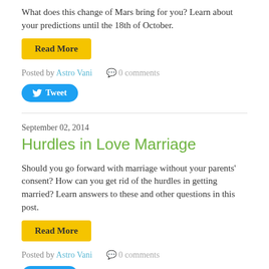What does this change of Mars bring for you? Learn about your predictions until the 18th of October.
Read More
Posted by Astro Vani   0 comments
Tweet
September 02, 2014
Hurdles in Love Marriage
Should you go forward with marriage without your parents' consent? How can you get rid of the hurdles in getting married? Learn answers to these and other questions in this post.
Read More
Posted by Astro Vani   0 comments
Tweet